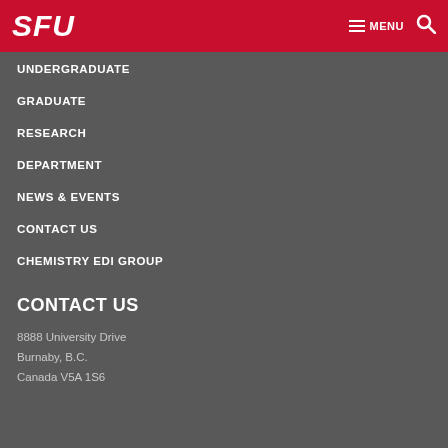SFU | MENU
UNDERGRADUATE
GRADUATE
RESEARCH
DEPARTMENT
NEWS & EVENTS
CONTACT US
CHEMISTRY EDI GROUP
CONTACT US
8888 University Drive
Burnaby, B.C.
Canada V5A 1S6